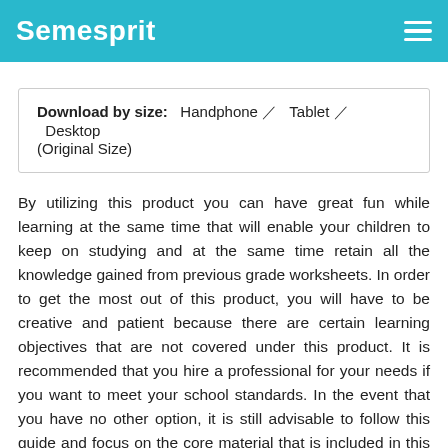Semesprit
Download by size: Handphone / Tablet / Desktop (Original Size)
By utilizing this product you can have great fun while learning at the same time that will enable your children to keep on studying and at the same time retain all the knowledge gained from previous grade worksheets. In order to get the most out of this product, you will have to be creative and patient because there are certain learning objectives that are not covered under this product. It is recommended that you hire a professional for your needs if you want to meet your school standards. In the event that you have no other option, it is still advisable to follow this guide and focus on the core material that is included in this product.